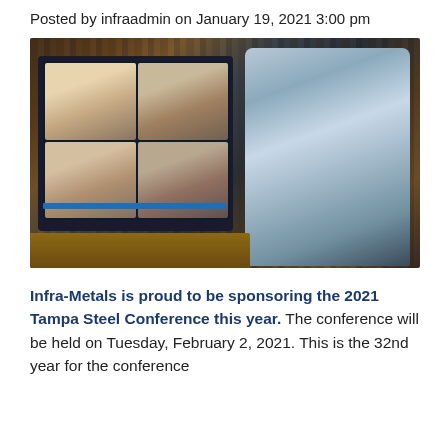Posted by infraadmin on January 19, 2021 3:00 pm
[Figure (photo): Man with glasses sitting at a desk in a library-style room, looking at a large monitor showing a video conference with multiple participants on screen]
Infra-Metals is proud to be sponsoring the 2021 Tampa Steel Conference this year. The conference will be held on Tuesday, February 2, 2021. This is the 32nd year for the conference